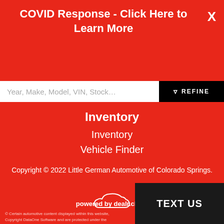COVID Response - Click Here to Learn More
Year, Make, Model, VIN, Stock...
REFINE
Inventory
Inventory
Vehicle Finder
Copyright © 2022 Little German Automotive of Colorado Springs.
[Figure (logo): powered by dealr.cloud logo with cloud icon]
© Certain automotive content displayed within this website, Copyright DataOne Software and are protected under the United States and international copyright law. Any unauthorized use, reproduction, distribution, recording or modification of this content is strictly prohibited.
TEXT US